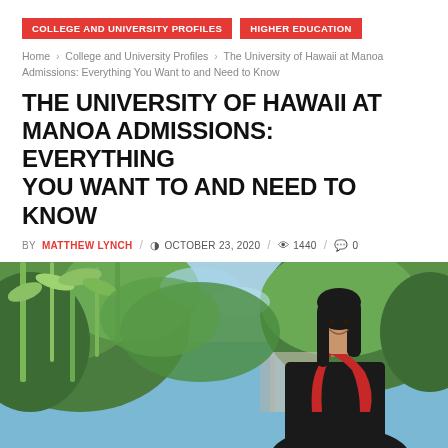COLLEGE AND UNIVERSITY PROFILES   HIGHER EDUCATION
Home › College and University Profiles › The University of Hawaii at Manoa Admissions: Everything You Want to and Need to Know
THE UNIVERSITY OF HAWAII AT MANOA ADMISSIONS: EVERYTHING YOU WANT TO AND NEED TO KNOW
BY MATTHEW LYNCH / OCTOBER 23, 2020 / 1440 / 0
[Figure (photo): A smiling young woman in a black graduation gown with red sash, standing outdoors with green trees and blue sky in the background, looking back over her shoulder]